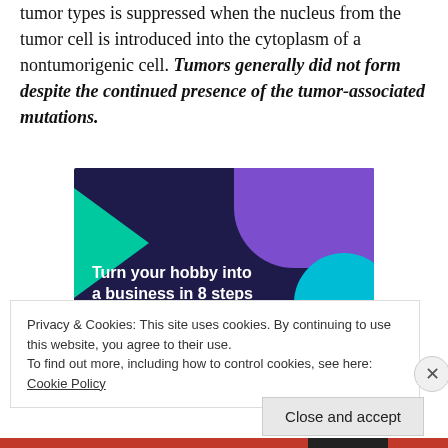tumor types is suppressed when the nucleus from the tumor cell is introduced into the cytoplasm of a nontumorigenic cell. Tumors generally did not form despite the continued presence of the tumor-associated mutations.
[Figure (illustration): Advertisement banner with dark purple/navy background, teal triangle shape on left, purple shape top right, cyan circle bottom right. White bold text reads: Turn your hobby into a business in 8 steps]
Privacy & Cookies: This site uses cookies. By continuing to use this website, you agree to their use.
To find out more, including how to control cookies, see here: Cookie Policy
Close and accept